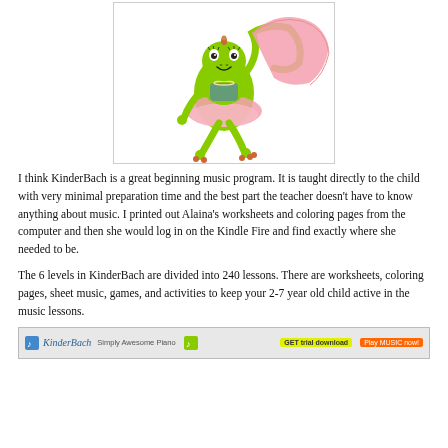[Figure (illustration): Cartoon frog character dressed as a ballerina in a pink tutu, striking a dance pose, shown in a bordered box]
I think KinderBach is a great beginning music program. It is taught directly to the child with very minimal preparation time and the best part the teacher doesn't have to know anything about music. I printed out Alaina's worksheets and coloring pages from the computer and then she would log in on the Kindle Fire and find exactly where she needed to be.
The 6 levels in KinderBach are divided into 240 lessons. There are worksheets, coloring pages, sheet music, games, and activities to keep your 2-7 year old child active in the music lessons.
[Figure (screenshot): KinderBach website screenshot strip showing the KinderBach logo, tagline 'Simply Awesome Piano', and buttons]